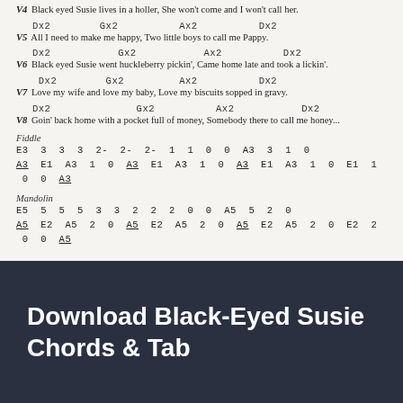V4 Black eyed Susie lives in a holler, She won't come and I won't call her.
V5 All I need to make me happy, Two little boys to call me Pappy.
V6 Black eyed Susie went huckleberry pickin', Came home late and took a lickin'.
V7 Love my wife and love my baby, Love my biscuits sopped in gravy.
V8 Goin' back home with a pocket full of money, Somebody there to call me honey...
Fiddle
E3 3 3 3 2- 2- 2- 1 1 0 0 A3 3 1 0
A3 E1 A3 1 0 A3 E1 A3 1 0 A3 E1 A3 1 0 E1 1 0 0 A3
Mandolin
E5 5 5 5 3 3 2 2 2 0 0 A5 5 2 0
A5 E2 A5 2 0 A5 E2 A5 2 0 A5 E2 A5 2 0 E2 2 0 0 A5
Download Black-Eyed Susie Chords & Tab